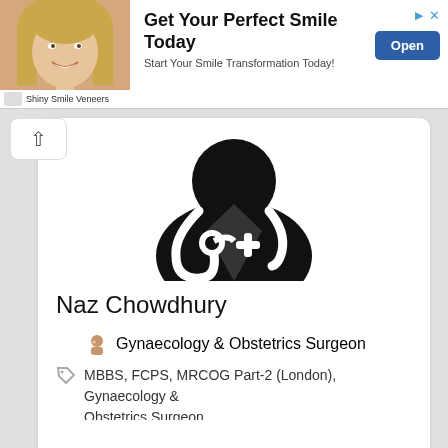[Figure (screenshot): Advertisement banner: photo of smiling blonde woman, 'Get Your Perfect Smile Today' heading, 'Start Your Smile Transformation Today!' subtitle, 'Open' button, 'Shiny Smile Veneers' brand label]
[Figure (illustration): Black silhouette icon of a doctor/medical professional wearing a stethoscope and lab coat with a white cross symbol]
Naz Chowdhury
Gynaecology & Obstetrics Surgeon
MBBS, FCPS, MRCOG Part-2 (London), Gynaecology & Obstetrics Surgeon
Sadar Hospital Road, 607 Razia Ah...
Day Off!